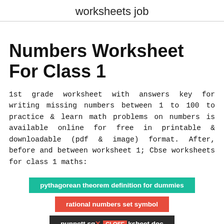worksheets job
Numbers Worksheet For Class 1
1st grade worksheet with answers key for writing missing numbers between 1 to 100 to practice & learn math problems on numbers is available online for free in printable & downloadable (pdf & image) format. After, before and between worksheet 1; Cbse worksheets for class 1 maths:
pythagorean theorem definition for dummies
rational numbers set symbol
punnett sq × CLOSE ksheet doc